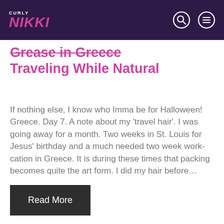CURLY NIKKI
Grease in Greece Traveling While Natural
If nothing else, I know who Imma be for Halloween! Greece. Day 7. A note about my 'travel hair'. I was going away for a month. Two weeks in St. Louis for Jesus' birthday and a much needed two week work-cation in Greece. It is during these times that packing becomes quite the art form. I did my hair before…
Read More